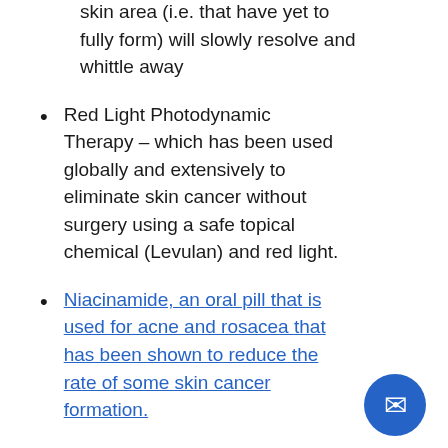skin area (i.e. that have yet to fully form) will slowly resolve and whittle away
Red Light Photodynamic Therapy – which has been used globally and extensively to eliminate skin cancer without surgery using a safe topical chemical (Levulan) and red light.
Niacinamide, an oral pill that is used for acne and rosacea that has been shown to reduce the rate of some skin cancer formation.
5. At Kline Dermatology, we place a special priority on how we perform read biopsies to make sure they are as thorough as possible. At our practice is